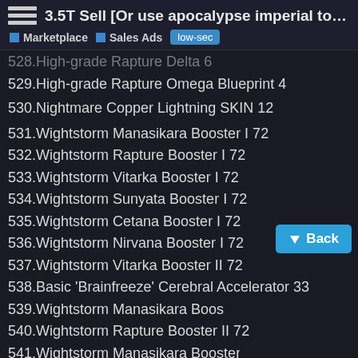3.5T Sell [Or use apocalypse imperial to excha... | Marketplace | Sales Ads | low-sec
528. High-grade Rapture Delta 6
529.High-grade Rapture Omega Blueprint 4
530.Nightmare Copper Lightning SKIN 12
531.Wightstorm Manasikara Booster I 72
532.Wightstorm Rapture Booster I 72
533.Wightstorm Vitarka Booster I 72
534.Wightstorm Sunyata Booster I 72
535.Wightstorm Cetana Booster I 72
536.Wightstorm Nirvana Booster I 72
537.Wightstorm Vitarka Booster II 72
538.Basic 'Brainfreeze' Cerebral Accelerator 33
539.Wightstorm Manasikara Booster II 72
540.Wightstorm Rapture Booster II 72
541.Wightstorm Manasikara Booster III
542.Wightstorm Sunyata Booster I 72
Back
36 / 245